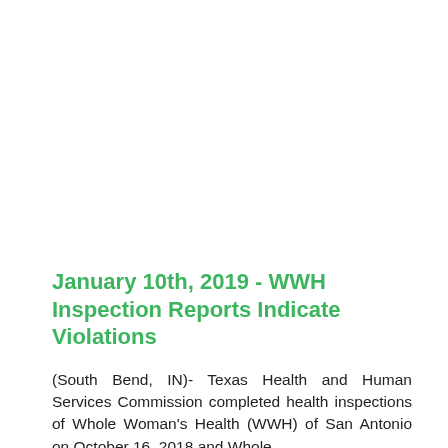January 10th, 2019 - WWH Inspection Reports Indicate Violations
(South Bend, IN)- Texas Health and Human Services Commission completed health inspections of Whole Woman's Health (WWH) of San Antonio on October 16, 2018 and Whole